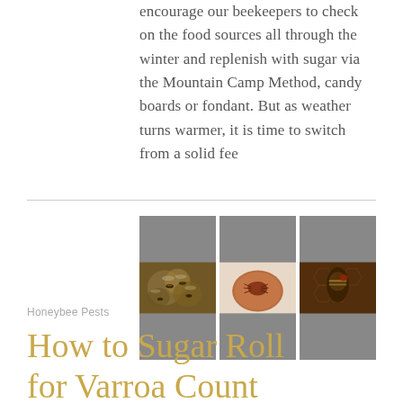encourage our beekeepers to check on the food sources all through the winter and replenish with sugar via the Mountain Camp Method, candy boards or fondant. But as weather turns warmer, it is time to switch from a solid fee
[Figure (photo): Three images side by side: left shows a cluster of honeybees, center shows a varroa mite close-up on a penny for scale, right shows a varroa mite attached to a honeybee on comb.]
Honeybee Pests
How to Sugar Roll for Varroa Count